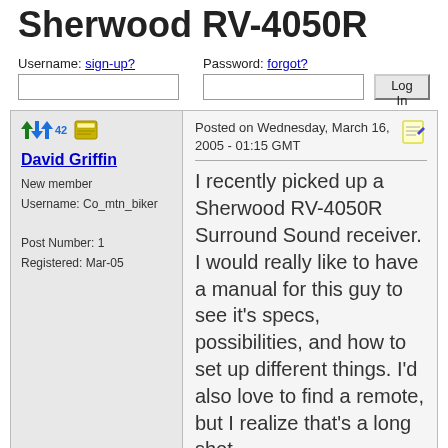Sherwood RV-4050R
Username: sign-up? Password: forgot?
Posted on Wednesday, March 16, 2005 - 01:15 GMT
David Griffin
New member
Username: Co_mtn_biker

Post Number: 1
Registered: Mar-05
I recently picked up a Sherwood RV-4050R Surround Sound receiver. I would really like to have a manual for this guy to see it's specs, possibilities, and how to set up different things. I'd also love to find a remote, but I realize that's a long shot.
If anyone can help me or point me in the right direction, I'd be more...